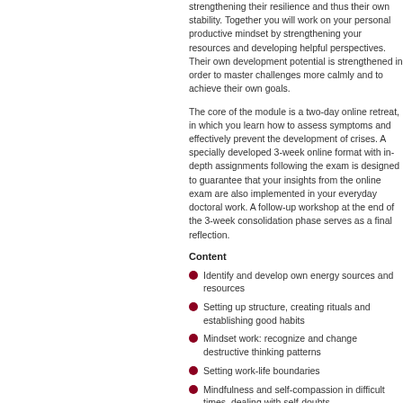strengthening their resilience and thus their own stability. Together you will work on your personal productive mindset by strengthening your resources and developing helpful perspectives. Their own development potential is strengthened in order to master challenges more calmly and to achieve their own goals.
The core of the module is a two-day online retreat, in which you learn how to assess symptoms and effectively prevent the development of crises. A specially developed 3-week online format with in-depth assignments following the exam is designed to guarantee that your insights from the online exam are also implemented in your everyday doctoral work. A follow-up workshop at the end of the 3-week consolidation phase serves as a final reflection.
Content
Identify and develop own energy sources and resources
Setting up structure, creating rituals and establishing good habits
Mindset work: recognize and change destructive thinking patterns
Setting work-life boundaries
Mindfulness and self-compassion in difficult times, dealing with self-doubts
Take action and successfully counter procrastination
Social support: Using solidarity and networking
Dealing with unsolvable problems
Methods